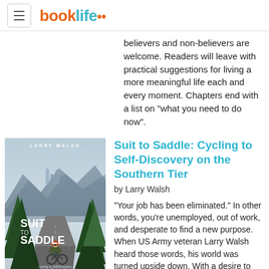booklife
believers and non-believers are welcome. Readers will leave with practical suggestions for living a more meaningful life each and every moment. Chapters end with a list on "what you need to do now".
[Figure (illustration): Book cover for 'Suit to Saddle: Cycling to Self-Discovery on the Southern Tier' by Larry Walsh. Cover shows a cyclist on a mountain road with pine trees and city skyline in the background.]
Suit to Saddle: Cycling to Self-Discovery on the Southern Tier
by Larry Walsh
"Your job has been eliminated." In other words, you're unemployed, out of work, and desperate to find a new purpose. When US Army veteran Larry Walsh heard those words, his world was turned upside down. With a desire to move beyond unemployment, create an exciting new future for himself, and push past his limits, he decides to fulfill his lifelong